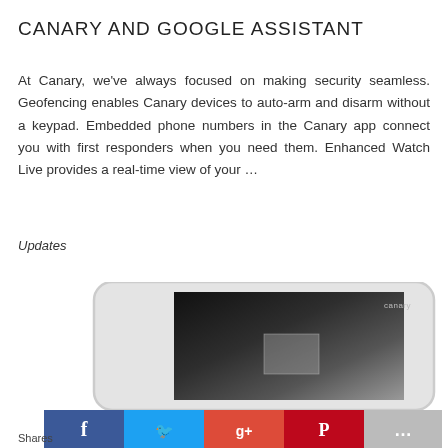CANARY AND GOOGLE ASSISTANT
At Canary, we've always focused on making security seamless. Geofencing enables Canary devices to auto-arm and disarm without a keypad. Embedded phone numbers in the Canary app connect you with first responders when you need them. Enhanced Watch Live provides a real-time view of your …
Updates
[Figure (screenshot): A smartphone screen showing the Canary security app with a dark camera feed, the Canary logo in the top right corner, and a partial white phone device frame. Below the phone image is a social media sharing bar with Facebook, Twitter, Google+, Pinterest, and a more button.]